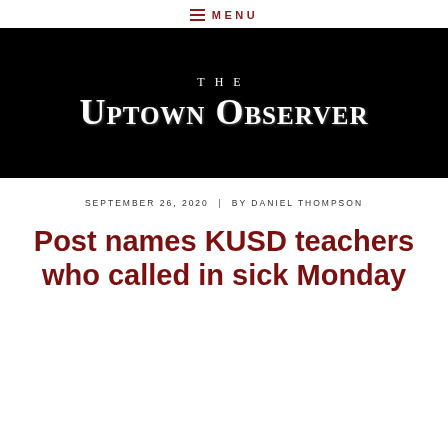≡ MENU
[Figure (logo): The Uptown Observer newspaper logo — white decorative serif text on black background]
SEPTEMBER 26, 2020 | BY DANIEL THOMPSON
Post names KUSD teachers who called in sick Monday